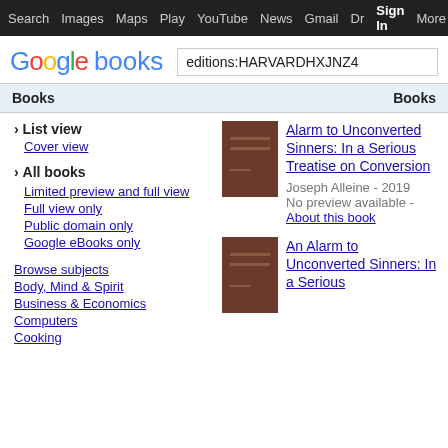Search  Images  Maps  Play  YouTube  News  Gmail  Dr  Sign In  More  ⚙
[Figure (logo): Google books logo with search box containing 'editions:HARVARDHXJNZ4']
Books    Books
› List view
Cover view
› All books
Limited preview and full view
Full view only
Public domain only
Google eBooks only
Browse subjects
Body, Mind & Spirit
Business & Economics
Computers
Cooking
[Figure (photo): Book cover - dark brown book with horizontal lines]
Alarm to Unconverted Sinners: In a Serious Treatise on Conversion
Joseph Alleine - 2019
No preview available - About this book
[Figure (photo): Book cover - dark brown book with horizontal lines]
An Alarm to Unconverted Sinners: In a Serious